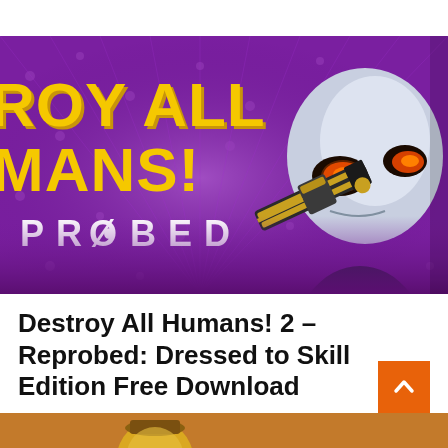[Figure (illustration): Game cover art for Destroy All Humans! 2 – Reprobed showing an alien character holding a futuristic weapon on a purple background with skull patterns. Yellow game title text on left.]
Destroy All Humans! 2 – Reprobed: Dressed to Skill Edition Free Download
[Figure (illustration): Partial image of another game or scene showing a golden/bronze character on an orange-brown background — bottom of page thumbnail.]